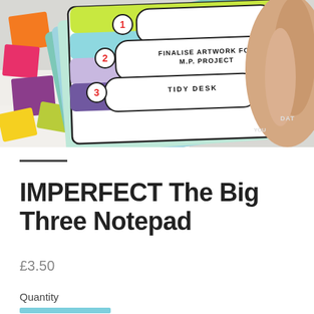[Figure (photo): Close-up photo of a colourful Big Three Notepad being held by a hand. The notepad shows numbered sections: 1, 2 (FINALISE ARTWORK FOR M.P. PROJECT), 3 (TIDY DESK). Coloured sticky notes are visible in the background on the left.]
IMPERFECT The Big Three Notepad
£3.50
Quantity